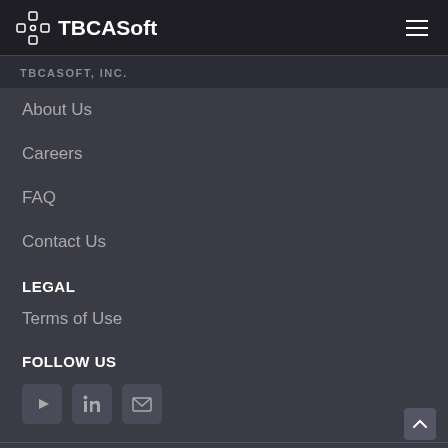TBCASoft | TBCASOFT, INC.
About Us
Careers
FAQ
Contact Us
LEGAL
Terms of Use
FOLLOW US
[Figure (other): Social media icons: YouTube, LinkedIn, Email]
DON'T MISS THE LATEST NEWS AND EVENTS